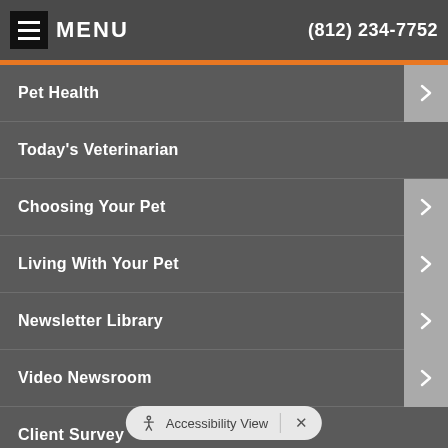MENU   (812) 234-7752
Pet Health
Today's Veterinarian
Choosing Your Pet
Living With Your Pet
Newsletter Library
Video Newsroom
Client Survey
Pets4Kids
Accessibility View